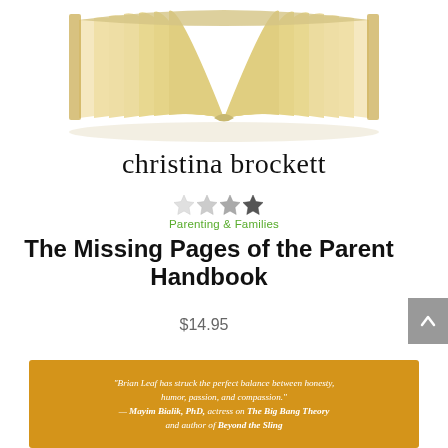[Figure (photo): An open book with yellowed pages, fanned open, viewed from above on a white background.]
christina brockett
[Figure (other): Star rating display showing approximately 2.5 out of 4 stars, with the first star outline/light grey, second light grey, third medium grey, fourth dark/filled.]
Parenting & Families
The Missing Pages of the Parent Handbook
$14.95
[Figure (other): Gold/amber colored banner with a quote: "Brian Leaf has struck the perfect balance between honesty, humor, passion, and compassion." — Mayim Bialik, PhD, actress on The Big Bang Theory and author of Beyond the Sling]